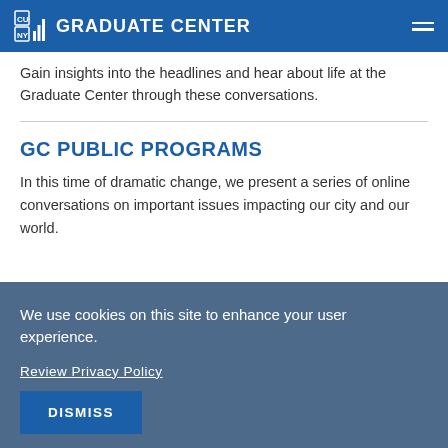CUNY GRADUATE CENTER
Gain insights into the headlines and hear about life at the Graduate Center through these conversations.
GC PUBLIC PROGRAMS
In this time of dramatic change, we present a series of online conversations on important issues impacting our city and our world.
We use cookies on this site to enhance your user experience.
Review Privacy Policy
DISMISS